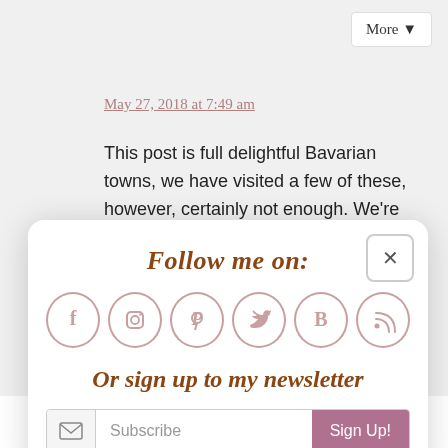More ▼
May 27, 2018 at 7:49 am
This post is full delightful Bavarian towns, we have visited a few of these, however, certainly not enough. We're hoping to tour more of Germany, particularly around Bavaria next year. So this has increased out
Follow me on:
[Figure (infographic): Six social media icon circles: Facebook (f), Instagram, Pinterest, Twitter (bird), Bloglovin (B), RSS feed]
Or sign up to my newsletter
Subscribe  Sign Up!
Kat says:
May 28, 2018 at 8:50 am